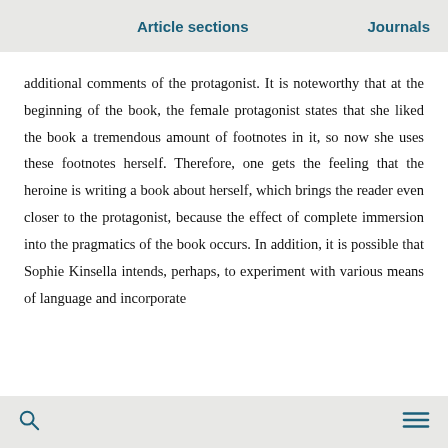Article sections    Journals
additional comments of the protagonist. It is noteworthy that at the beginning of the book, the female protagonist states that she liked the book a tremendous amount of footnotes in it, so now she uses these footnotes herself. Therefore, one gets the feeling that the heroine is writing a book about herself, which brings the reader even closer to the protagonist, because the effect of complete immersion into the pragmatics of the book occurs. In addition, it is possible that Sophie Kinsella intends, perhaps, to experiment with various means of language and incorporate